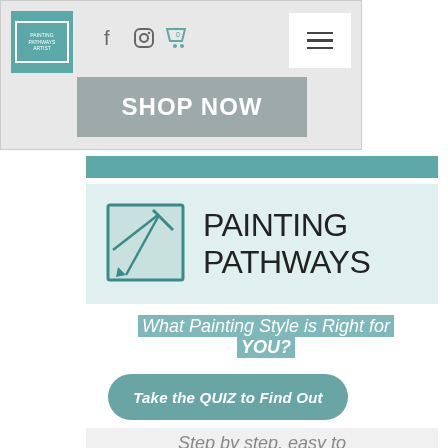[Figure (screenshot): Website navigation bar with teal logo box, social media icons (Facebook, Instagram, shopping cart with 0), hamburger menu button, and a gray SHOP NOW button below]
[Figure (logo): Painting Pathways logo: teal square with paintbrush icon on left, large sans-serif text PAINTING PATHWAYS on right, on light teal background]
What Painting Style is Right for YOU?
[Figure (other): Teal rounded-rectangle button reading Take the QUIZ to Find Out]
Step by step, easy to